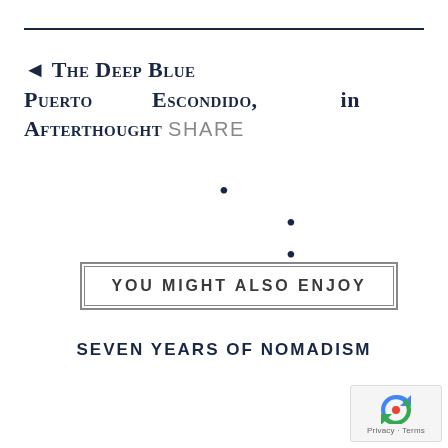◄ The Deep Blue Puerto Escondido, in Afterthought SHARE
• • •
YOU MIGHT ALSO ENJOY
SEVEN YEARS OF NOMADISM